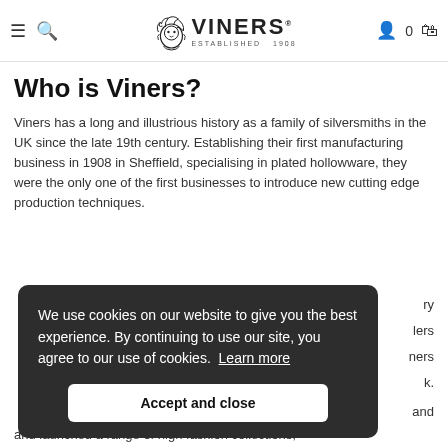VINERS ESTABLISHED 1908
Who is Viners?
Viners has a long and illustrious history as a family of silversmiths in the UK since the late 19th century. Establishing their first manufacturing business in 1908 in Sheffield, specialising in plated hollowware, they were the only one of the first businesses to introduce new cutting edge production techniques.
We use cookies on our website to give you the best experience. By continuing to use our site, you agree to our use of cookies. Learn more
Accept and close
and launched a range of high fashion collections,